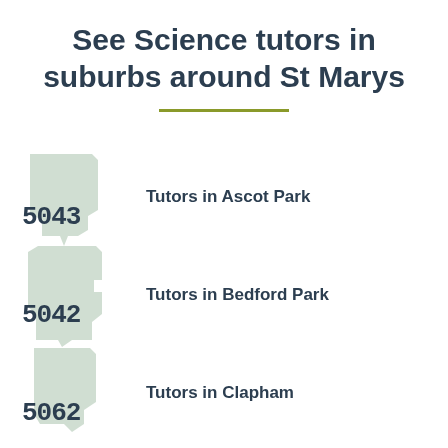See Science tutors in suburbs around St Marys
5043 Tutors in Ascot Park
5042 Tutors in Bedford Park
5062 Tutors in Clapham